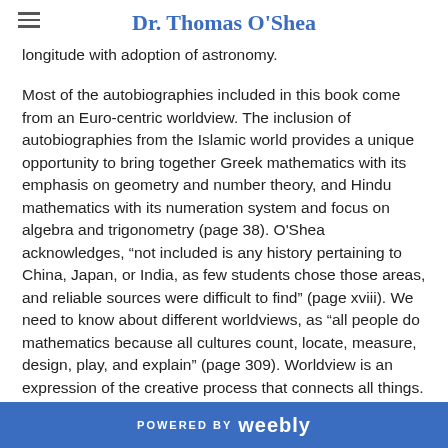Dr. Thomas O'Shea
longitude with adoption of astronomy.
Most of the autobiographies included in this book come from an Euro-centric worldview. The inclusion of autobiographies from the Islamic world provides a unique opportunity to bring together Greek mathematics with its emphasis on geometry and number theory, and Hindu mathematics with its numeration system and focus on algebra and trigonometry (page 38). O'Shea acknowledges, “not included is any history pertaining to China, Japan, or India, as few students chose those areas, and reliable sources were difficult to find” (page xviii). We need to know about different worldviews, as “all people do mathematics because all cultures count, locate, measure, design, play, and explain” (page 309). Worldview is an expression of the creative process that connects all things. Indigenous peoples have historically applied the thought process of mathematics within cultural contexts, which are holistic. Most Indigenous cultures have an orientation
POWERED BY weebly